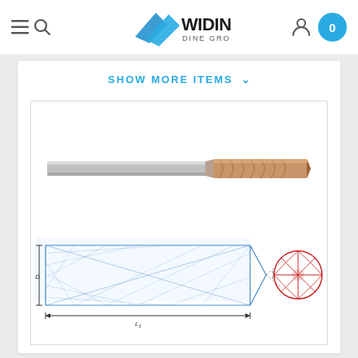[Figure (logo): WIDIN DINE GROUP logo with blue arrow/wing shapes]
SHOW MORE ITEMS
[Figure (engineering-diagram): Engineering product page showing a carbide drill bit: top photo of the physical drill with grey shank and bronze/copper colored fluted tip, bottom shows technical blueprint-style diagram with dimension annotations L1 and D, showing cross-sectional view of drill tip geometry]